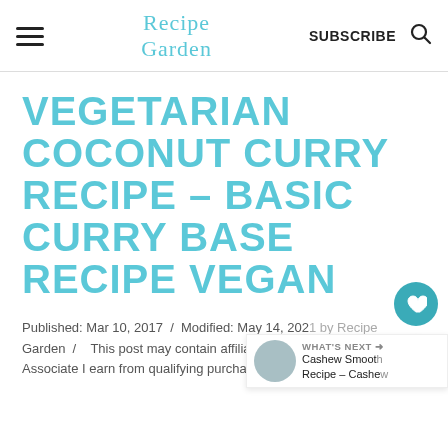Recipe Garden | SUBSCRIBE
VEGETARIAN COCONUT CURRY RECIPE – BASIC CURRY BASE RECIPE VEGAN
Published: Mar 10, 2017  /  Modified: May 14, 2021 by Recipe Garden  /  This post may contain affiliate links. As an Amazon Associate I earn from qualifying purchases. Leave a Comment